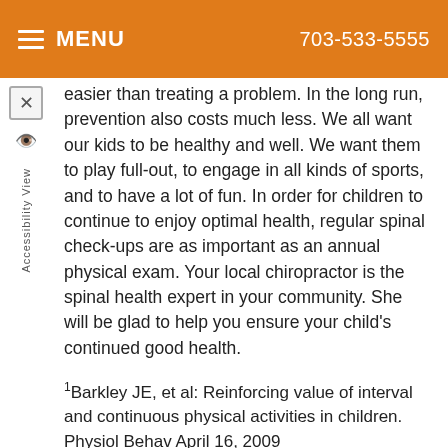MENU  703-533-5555
easier than treating a problem. In the long run, prevention also costs much less. We all want our kids to be healthy and well. We want them to play full-out, to engage in all kinds of sports, and to have a lot of fun. In order for children to continue to enjoy optimal health, regular spinal check-ups are as important as an annual physical exam. Your local chiropractor is the spinal health expert in your community. She will be glad to help you ensure your child's continued good health.
1Barkley JE, et al: Reinforcing value of interval and continuous physical activities in children. Physiol Behav April 16, 2009
2Fecteau D, et al: The effect of concentrating periods